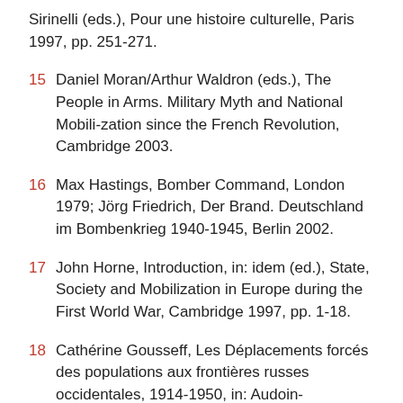Sirinelli (eds.), Pour une histoire culturelle, Paris 1997, pp. 251-271.
15 Daniel Moran/Arthur Waldron (eds.), The People in Arms. Military Myth and National Mobili-zation since the French Revolution, Cambridge 2003.
16 Max Hastings, Bomber Command, London 1979; Jörg Friedrich, Der Brand. Deutschland im Bombenkrieg 1940-1945, Berlin 2002.
17 John Horne, Introduction, in: idem (ed.), State, Society and Mobilization in Europe during the First World War, Cambridge 1997, pp. 1-18.
18 Cathérine Gousseff, Les Déplacements forcés des populations aux frontières russes occidentales, 1914-1950, in: Audoin-Rouzeau/Becker/Ingrao/Rousso, La Violence de guerre (fn. 11), pp. 175-191.